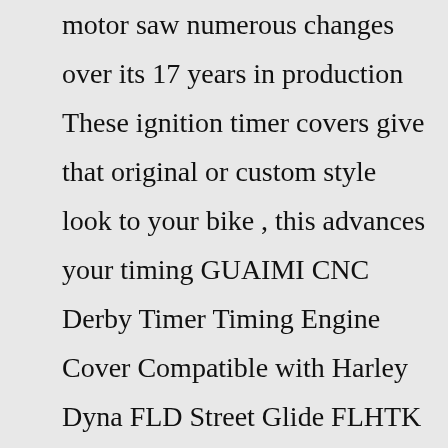motor saw numerous changes over its 17 years in production These ignition timer covers give that original or custom style look to your bike , this advances your timing GUAIMI CNC Derby Timer Timing Engine Cover Compatible with Harley Dyna FLD Street Glide FLHTK FLHRS Fatboy FXSTB - Skeleton Skull OXMART Derby Cover Timer Point Cover 5 Hole Modified Engine Clutch Side Cover Fit for